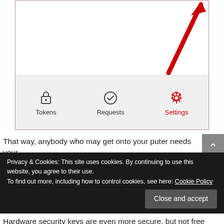[Figure (screenshot): Mobile app screenshot showing a navigation bar at the bottom with three tabs: Tokens (lock icon), Requests (checkmark icon), and Settings (gear icon, highlighted in red as active). A red arrow points to the top-right corner of the phone frame.]
That way, anybody who may get onto your puter needs your
Privacy & Cookies: This site uses cookies. By continuing to use this website, you agree to their use.
To find out more, including how to control cookies, see here: Cookie Policy
Close and accept
Hardware security keys are even more secure, but not free